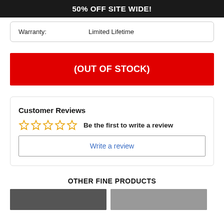50% OFF SITE WIDE!
| Warranty: | Limited Lifetime |
(OUT OF STOCK)
Customer Reviews
Be the first to write a review
Write a review
OTHER FINE PRODUCTS